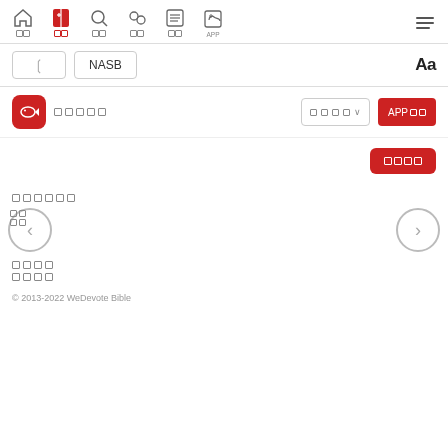Navigation bar with icons: home, bible (active/red), search, search2, list, APP, and hamburger menu
NASB | Aa — toolbar with version selector and font size control
[Figure (screenshot): App banner row with fish icon, app name in Korean squares, dropdown, and red APP button]
[Figure (screenshot): Red button on right side with Korean square characters]
Korean square placeholder text (6 squares)
[Figure (screenshot): Left back navigation circle arrow and right forward navigation circle arrow]
Korean square placeholder text (4 squares)
Korean square placeholder text (4 squares)
© 2013-2022 WeDevote Bible